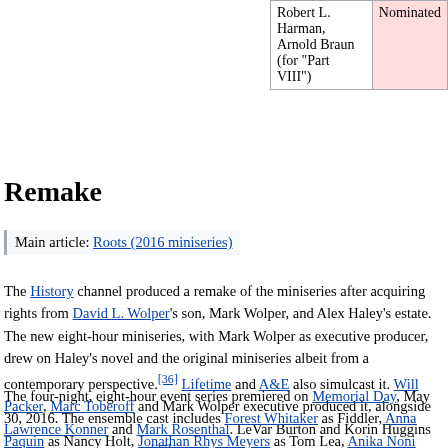| Robert L. Harman, Arnold Braun (for "Part VIII") | Nominated |
Remake
Main article: Roots (2016 miniseries)
The History channel produced a remake of the miniseries after acquiring rights from David L. Wolper's son, Mark Wolper, and Alex Haley's estate. The new eight-hour miniseries, with Mark Wolper as executive producer, drew on Haley's novel and the original miniseries albeit from a contemporary perspective.[36] Lifetime and A&E also simulcast it. Will Packer, Marc Toberoff and Mark Wolper executive produced it, alongside Lawrence Konner and Mark Rosenthal. LeVar Burton and Korin Huggins co-executive produced it.[37]
The four-night, eight-hour event series premiered on Memorial Day, May 30, 2016. The ensemble cast includes Forest Whitaker as Fiddler, Anna Paquin as Nancy Holt, Jonathan Rhys Meyers as Tom Lea, Anika Noni Rose as Kizzy, Tip "T.I." Harris as Cyrus, Emayatzy Corinealdi as Bell, Matthew Goode as Dr. William...